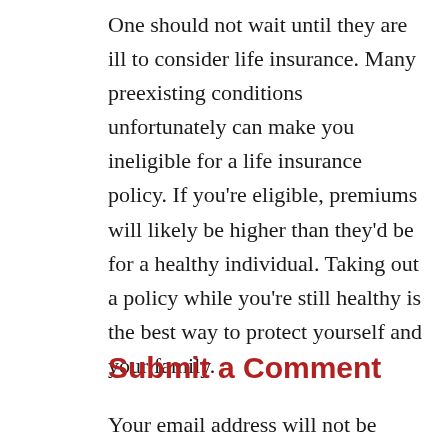One should not wait until they are ill to consider life insurance. Many preexisting conditions unfortunately can make you ineligible for a life insurance policy. If you're eligible, premiums will likely be higher than they'd be for a healthy individual. Taking out a policy while you're still healthy is the best way to protect yourself and your family.
Submit a Comment
Your email address will not be published. Required fields are marked *